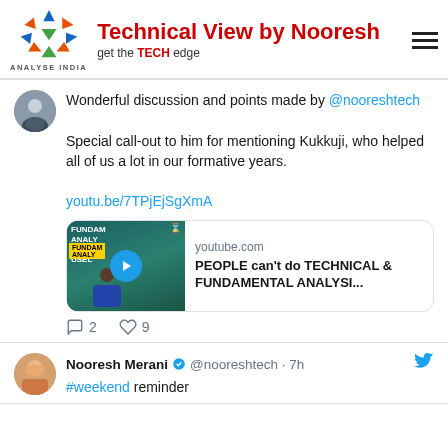[Figure (logo): Analyse India logo with colorful triangles and 'Technical View by Nooresh' header]
Wonderful discussion and points made by @nooreshtech

Special call-out to him for mentioning Kukkuji, who helped all of us a lot in our formative years.

youtu.be/7TPjEjSgXmA
[Figure (screenshot): YouTube preview card: youtube.com | PEOPLE can't do TECHNICAL & FUNDAMENTAL ANALYSI...]
2 comments, 9 likes
Nooresh Merani @nooreshtech · 7h
#weekend reminder